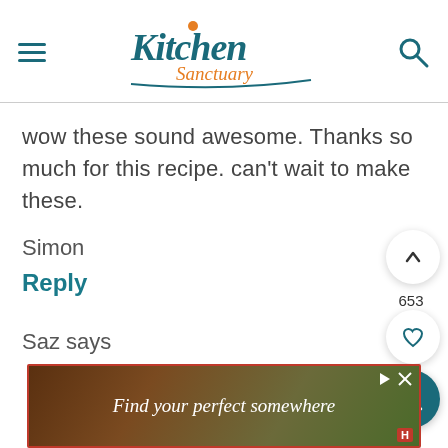Kitchen Sanctuary
wow these sound awesome. Thanks so much for this recipe. can't wait to make these.
Simon
Reply
Saz says
[Figure (other): Advertisement banner: Find your perfect somewhere]
653